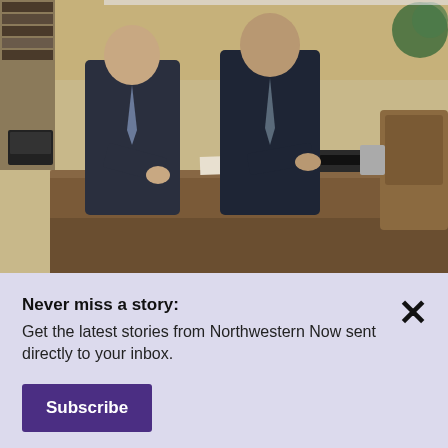[Figure (photo): Two men in suits leaning over a large wooden desk in what appears to be a formal office setting, papers and items on the desk, bookshelves and decor visible in background.]
Learning to write like a president sounds
December 10, 2018
University Teaching Awards for five faculty
Never miss a story: Get the latest stories from Northwestern Now sent directly to your inbox.
Subscribe